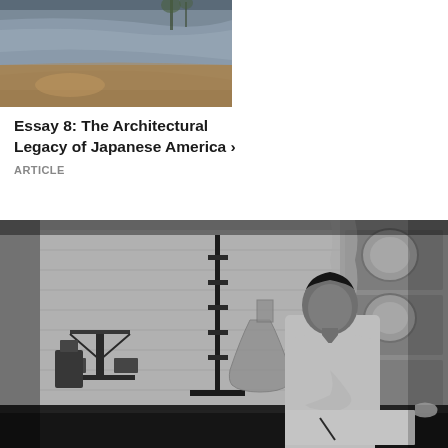[Figure (photo): Outdoor photo of a curved metal/concrete wall along a walkway at dusk or evening]
Essay 8: The Architectural Legacy of Japanese America ›
ARTICLE
[Figure (photo): Black and white photograph of a man in a white lab coat sitting at a desk in a laboratory, writing, surrounded by scientific equipment including scales, flasks, and glassware]